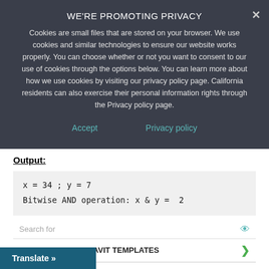WE'RE PROMOTING PRIVACY
Cookies are small files that are stored on your browser. We use cookies and similar technologies to ensure our website works properly. You can choose whether or not you want to consent to our use of cookies through the options below. You can learn more about how we use cookies by visiting our privacy policy page. California residents can also exercise their personal information rights through the Privacy policy page.
Accept   Privacy policy
Output:
x = 34 ; y = 7
Bitwise AND operation: x & y =  2
Search for
1.  GENERAL AFFIDAVIT TEMPLATES
2.  CODING FOR BEGINNERS
ocus
Translate »